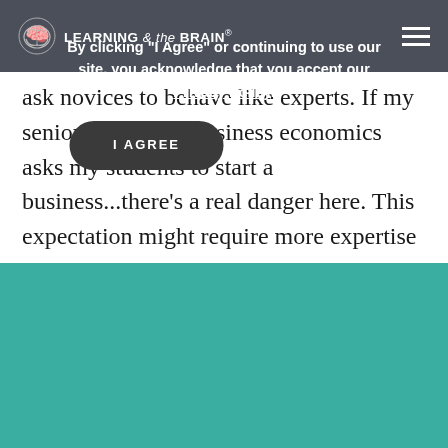LEARNING & the BRAIN®
ask novices to behave like experts. If my senior elective in business economics asks my students to start a business...there's a real danger here. This expectation might require more expertise of my novice learners than they can plausibly demonstrate.
To return to the list above:
By clicking "I Agree" or continuing to use our site, you acknowledge that you accept our Privacy Policy.
I AGREE